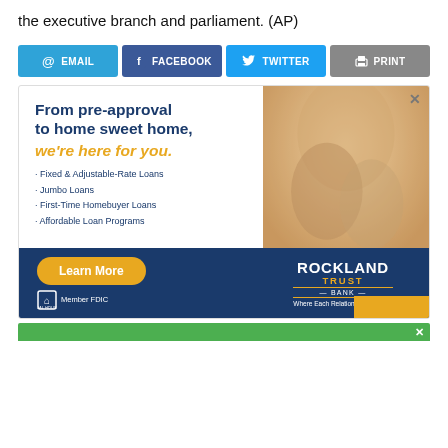the executive branch and parliament. (AP)
[Figure (infographic): Social sharing buttons: EMAIL, FACEBOOK, TWITTER, PRINT]
[Figure (infographic): Rockland Trust Bank advertisement. Text: From pre-approval to home sweet home, we're here for you. Bullet points: Fixed & Adjustable-Rate Loans, Jumbo Loans, First-Time Homebuyer Loans, Affordable Loan Programs. Learn More button. Rockland Trust Bank logo. Where Each Relationship Matters*. Member FDIC. Equal Housing Lender.]
[Figure (infographic): Second advertisement strip (green background, partially visible)]